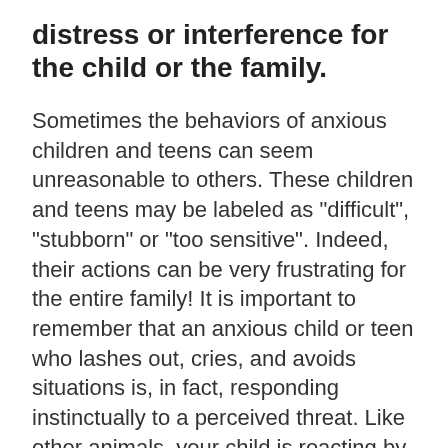distress or interference for the child or the family.
Sometimes the behaviors of anxious children and teens can seem unreasonable to others. These children and teens may be labeled as "difficult", "stubborn" or "too sensitive". Indeed, their actions can be very frustrating for the entire family! It is important to remember that an anxious child or teen who lashes out, cries, and avoids situations is, in fact, responding instinctually to a perceived threat. Like other animals, your child is reacting by either